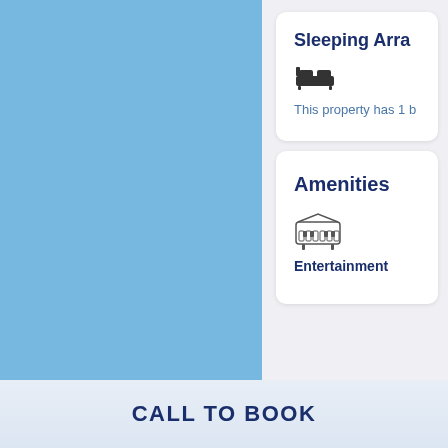Sleeping Arra
[Figure (illustration): Bed/sleeping icon]
This property has 1 b
Amenities
[Figure (illustration): Entertainment/piano icon]
Entertainment
CALL TO BOOK